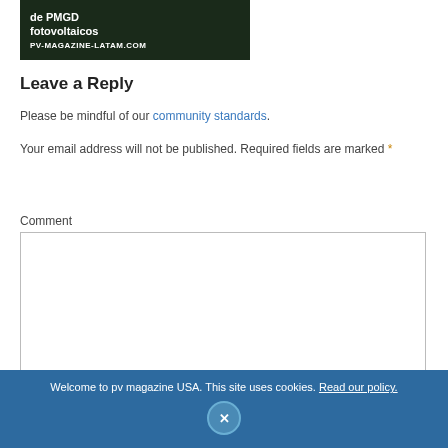[Figure (screenshot): Advertisement banner for pv-magazine-latam.com showing text 'de PMGD fotovoltaicos' and 'PV-MAGAZINE-LATAM.COM' on dark green/black background]
Leave a Reply
Please be mindful of our community standards.
Your email address will not be published. Required fields are marked *
Comment
[Figure (screenshot): Empty comment text area input box with light border]
Welcome to pv magazine USA. This site uses cookies. Read our policy.